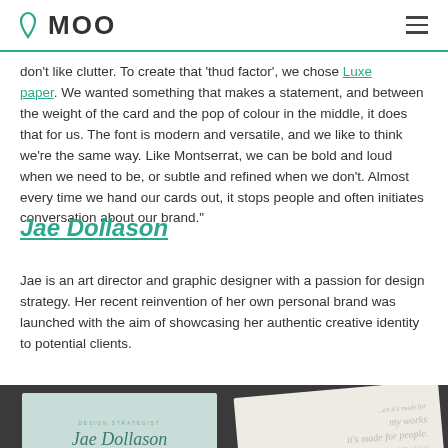MOO
don't like clutter. To create that 'thud factor', we chose Luxe paper. We wanted something that makes a statement, and between the weight of the card and the pop of colour in the middle, it does that for us. The font is modern and versatile, and we like to think we're the same way. Like Montserrat, we can be bold and loud when we need to be, or subtle and refined when we don't. Almost every time we hand our cards out, it stops people and often initiates conversation about our brand."
Jae Dollason
Jae is an art director and graphic designer with a passion for design strategy. Her recent reinvention of her own personal brand was launched with the aim of showcasing her authentic creative identity to potential clients.
[Figure (photo): Two business cards on a dark background. Left card is mint green with 'DESIGN STRATEGIST' and 'Jae Dollason' in script. Right card is off-white/cream rotated slightly showing italic text.]